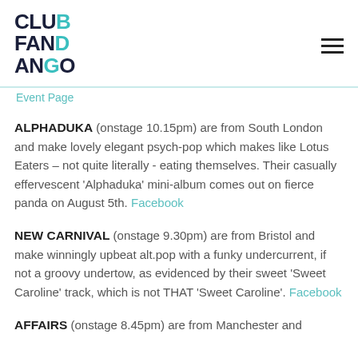[Figure (logo): Club Fandango logo with stylized bold text in dark navy and teal accent character]
Event Page
ALPHADUKA (onstage 10.15pm) are from South London and make lovely elegant psych-pop which makes like Lotus Eaters – not quite literally - eating themselves. Their casually effervescent 'Alphaduka' mini-album comes out on fierce panda on August 5th. Facebook
NEW CARNIVAL (onstage 9.30pm) are from Bristol and make winningly upbeat alt.pop with a funky undercurrent, if not a groovy undertow, as evidenced by their sweet 'Sweet Caroline' track, which is not THAT 'Sweet Caroline'. Facebook
AFFAIRS (onstage 8.45pm) are from Manchester and